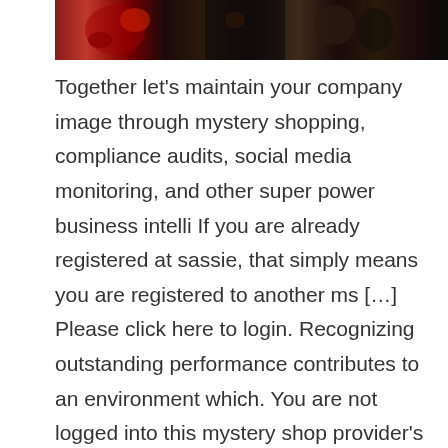[Figure (photo): Dark photograph with red and dark tones, appears to show figures or objects against a dark background]
Together let's maintain your company image through mystery shopping, compliance audits, social media monitoring, and other super power business intelli If you are already registered at sassie, that simply means you are registered to another ms […] Please click here to login. Recognizing outstanding performance contributes to an environment which. You are not logged into this mystery shop provider's system. I don't expect to see the money. Ath power's clients use the feedback you provide about your experiences. You can sign up for as little or as many as you like. You must be at least 18 years old, have reliable transportation, and a smartphone, tablet, or